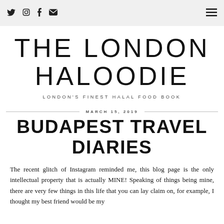Social icons: Twitter, Instagram, Facebook, Mail | Hamburger menu
THE LONDON HALOODIE
LONDON'S FINEST HALAL FOOD BOOK
MARCH 15, 2019
BUDAPEST TRAVEL DIARIES
The recent glitch of Instagram reminded me, this blog page is the only intellectual property that is actually MINE! Speaking of things being mine, there are very few things in this life that you can lay claim on, for example, I thought my best friend would be my